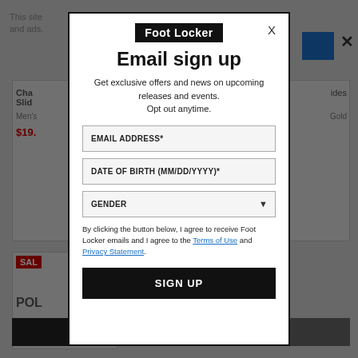[Figure (screenshot): Background of Foot Locker website with greyed-out product cards, sale badges, and navigation elements behind the modal overlay]
Email sign up
Get exclusive offers and news on upcoming releases and events. Opt out anytime.
EMAIL ADDRESS*
DATE OF BIRTH (MM/DD/YYYY)*
GENDER
By clicking the button below, I agree to receive Foot Locker emails and I agree to the Terms of Use and Privacy Statement.
SIGN UP